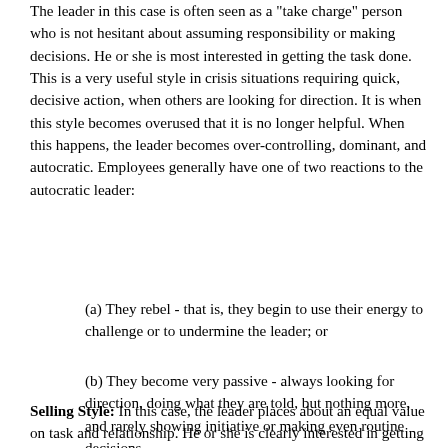The leader in this case is often seen as a "take charge" person who is not hesitant about assuming responsibility or making decisions. He or she is most interested in getting the task done. This is a very useful style in crisis situations requiring quick, decisive action, when others are looking for direction. It is when this style becomes overused that it is no longer helpful. When this happens, the leader becomes over-controlling, dominant, and autocratic. Employees generally have one of two reactions to the autocratic leader:
(a) They rebel - that is, they begin to use their energy to challenge or to undermine the leader; or
(b) They become very passive - always looking for direction, doing what they are told, but nothing more, and rarely showing initiative or making even routine decisions.
Selling Style: In this case, the leader places about an equal value on task and relationship. He or she is clearly interested in getting the task done. And